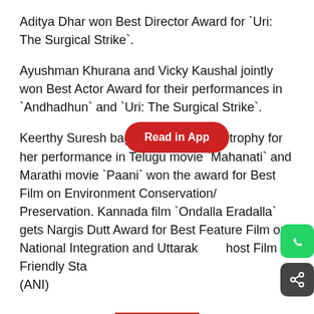Aditya Dhar won Best Director Award for `Uri: The Surgical Strike`.
Ayushman Khurana and Vicky Kaushal jointly won Best Actor Award for their performances in `Andhadhun` and `Uri: The Surgical Strike`.
Keerthy Suresh bagged Best Actress trophy for her performance in Telugu movie `Mahanati` and Marathi movie `Paani` won the award for Best Film on Environment Conservation/ Preservation. Kannada film `Ondalla Eradalla` gets Nargis Dutt Award for Best Feature Film on National Integration and Uttarak[hand] [M]ost Film Friendly Sta[te] (ANI)
Live Tv